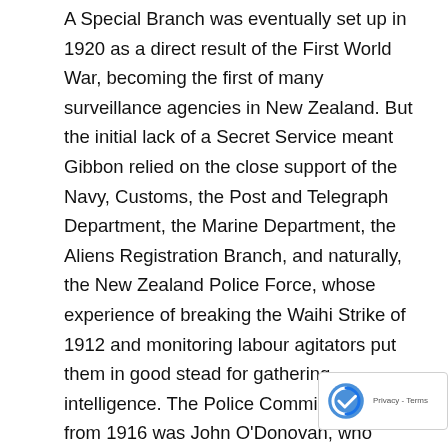A Special Branch was eventually set up in 1920 as a direct result of the First World War, becoming the first of many surveillance agencies in New Zealand. But the initial lack of a Secret Service meant Gibbon relied on the close support of the Navy, Customs, the Post and Telegraph Department, the Marine Department, the Aliens Registration Branch, and naturally, the New Zealand Police Force, whose experience of breaking the Waihi Strike of 1912 and monitoring labour agitators put them in good stead for gathering intelligence. The Police Commissioner from 1916 was John O'Donovan, who worked closely with Gibbon to shadow suspects and report on people of interest.
Despite the net in place and the threat of fines or conviction, writers tried to sneak information past a censor's gaze. Some, like Christchurch bookmaker antimilitarist Henry Reynolds, hid mail within mail.